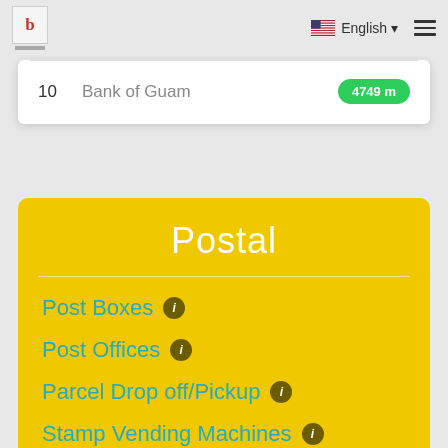English (navigation bar with logo and hamburger menu)
| # | Name | Distance |
| --- | --- | --- |
| 10 | Bank of Guam | 4749 m |
Postal
Post Boxes
Post Offices
Parcel Drop off/Pickup
Stamp Vending Machines